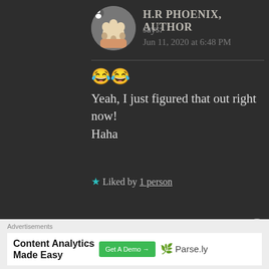[Figure (photo): Circular avatar photo of a cat's paw being held by a hand]
H.R PHOENIX, AUTHOR says: Jun 11, 2020 at 6:48 PM
😂😂 Yeah, I just figured that out right now! Haha
★ Liked by 1 person
[Figure (logo): Circular white avatar with 'The Bold Girl' text and icon]
THE BOLD GIRL says: Jun 11, 2020 at 6:49 PM
Advertisements
Content Analytics Made Easy  Get A Demo →   Parse.ly